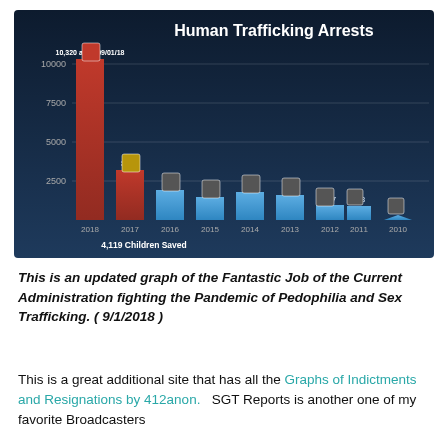[Figure (bar-chart): Human Trafficking Arrests]
This is an updated graph of the Fantastic Job of the Current Administration fighting the Pandemic of Pedophilia and Sex Trafficking. ( 9/1/2018 )
This is a great additional site that has all the Graphs of Indictments and Resignations by 412anon.   SGT Reports is another one of my favorite Broadcasters